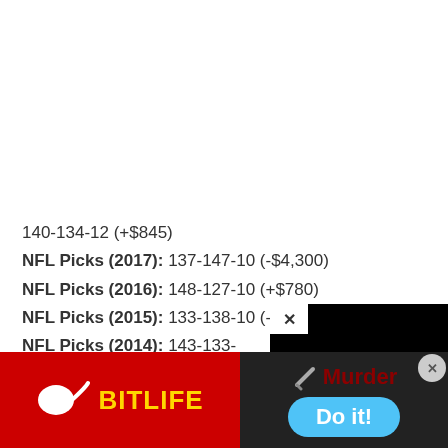140-134-12 (+$845)
NFL Picks (2017): 137-147-10 (-$4,300)
NFL Picks (2016): 148-127-10 (+$780)
NFL Picks (2015): 133-138-10 (-$3,215)
NFL Picks (2014): 143-133-...
NFL Picks (2013): 144-131-...
NFL Picks (2012): 130-145-...
NFL Picks (2011): 137-133-...
[Figure (screenshot): Video player popup overlay on black background with X close button and loading spinner circle]
[Figure (screenshot): BitLife advertisement banner with red background, yellow BitLife logo, and Murder Do it! call to action]